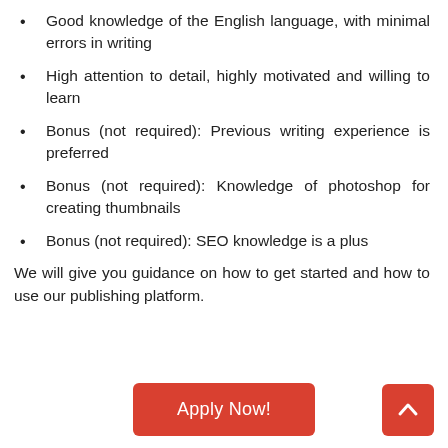Good knowledge of the English language, with minimal errors in writing
High attention to detail, highly motivated and willing to learn
Bonus (not required): Previous writing experience is preferred
Bonus (not required): Knowledge of photoshop for creating thumbnails
Bonus (not required): SEO knowledge is a plus
We will give you guidance on how to get started and how to use our publishing platform.